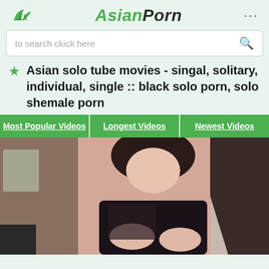AsianPorn
to search ckick here
Asian solo tube movies - singal, solitary, individual, single :: black solo porn, solo shemale porn
Most Popular Videos | Longest Videos | Newest Videos
[Figure (photo): Thumbnail photo of a woman with dark hair wearing a black lace top]